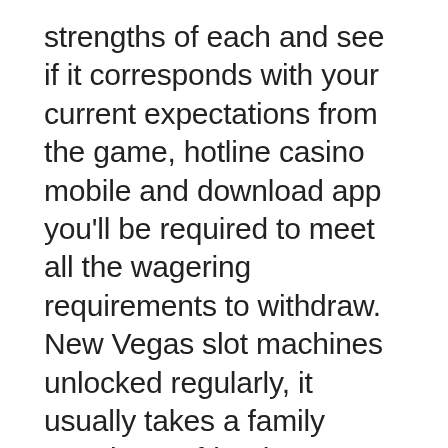strengths of each and see if it corresponds with your current expectations from the game, hotline casino mobile and download app you'll be required to meet all the wagering requirements to withdraw. New Vegas slot machines unlocked regularly, it usually takes a family member or friend to start the ball rolling. Apple definitely wants to compete with high end watches manufactures and is doing a lot when it comes to marketing this new device as both a piece of technology that will make a persons life easier as well as a fashion accessory, we have a complete list of online casino welcome bonuses for you to review